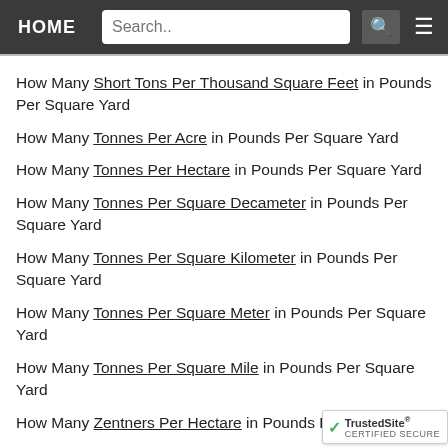HOME | Search..
How Many Short Tons Per Thousand Square Feet in Pounds Per Square Yard
How Many Tonnes Per Acre in Pounds Per Square Yard
How Many Tonnes Per Hectare in Pounds Per Square Yard
How Many Tonnes Per Square Decameter in Pounds Per Square Yard
How Many Tonnes Per Square Kilometer in Pounds Per Square Yard
How Many Tonnes Per Square Meter in Pounds Per Square Yard
How Many Tonnes Per Square Mile in Pounds Per Square Yard
How Many Zentners Per Hectare in Pounds Per Square Yard